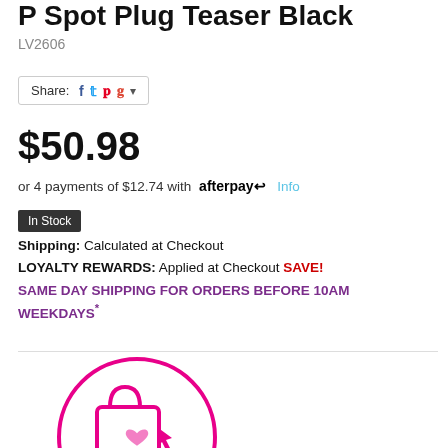P Spot Plug Teaser Black
LV2606
Share:
$50.98
or 4 payments of $12.74 with afterpay Info
In Stock
Shipping: Calculated at Checkout
LOYALTY REWARDS: Applied at Checkout SAVE!
SAME DAY SHIPPING FOR ORDERS BEFORE 10AM WEEKDAYS*
[Figure (logo): Click & Collect 24/7 badge with shopping bag icon and heart, pink circular logo]